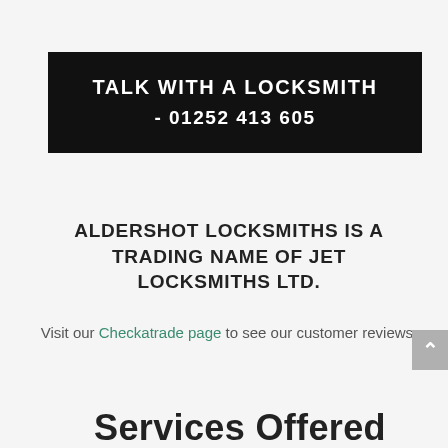TALK WITH A LOCKSMITH - 01252 413 605
ALDERSHOT LOCKSMITHS IS A TRADING NAME OF JET LOCKSMITHS LTD.
Visit our Checkatrade page to see our customer reviews.
Services Offered